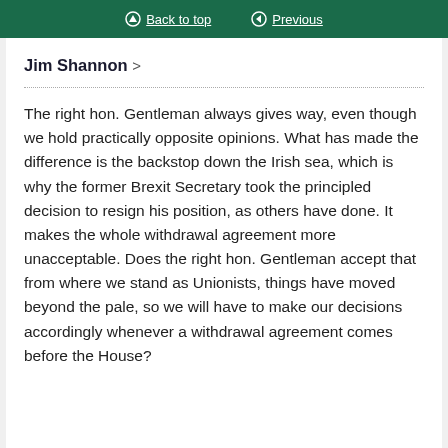Back to top   Previous
Jim Shannon >
The right hon. Gentleman always gives way, even though we hold practically opposite opinions. What has made the difference is the backstop down the Irish sea, which is why the former Brexit Secretary took the principled decision to resign his position, as others have done. It makes the whole withdrawal agreement more unacceptable. Does the right hon. Gentleman accept that from where we stand as Unionists, things have moved beyond the pale, so we will have to make our decisions accordingly whenever a withdrawal agreement comes before the House?